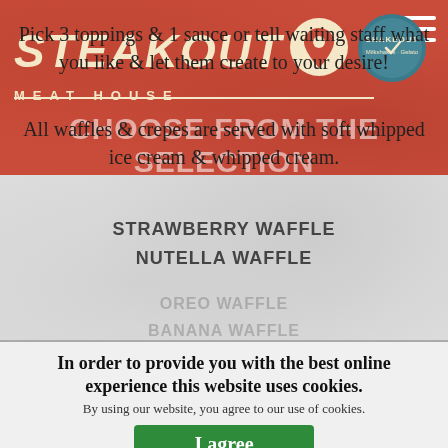[Figure (logo): Steakout Meat House logo banner in red with white serif italic text, location pin icon, Shakeout badge, and hamburger menu icon]
CHOOSE FROM THE SELECTION OR BUILD YOUR OWN!
Pick 3 toppings & 1 sauce or tell waiting staff what you like & let them create to your desire!
All waffles & crepes are served with soft whipped ice cream & whipped cream.
STRAWBERRY WAFFLE
NUTELLA WAFFLE
OREO WAFFLE
BANANA WAFFLE
MIXED BERRY WAFFLE
In order to provide you with the best online experience this website uses cookies.
By using our website, you agree to our use of cookies.